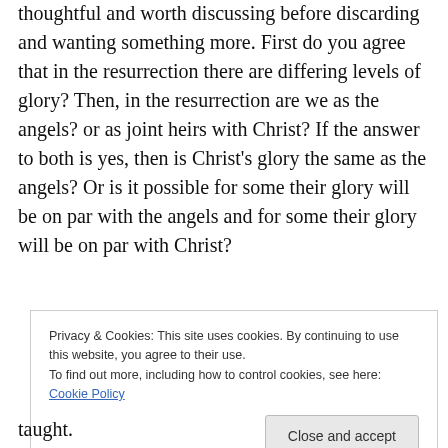I do think I gave some points that were rather thoughtful and worth discussing before discarding and wanting something more. First do you agree that in the resurrection there are differing levels of glory? Then, in the resurrection are we as the angels? or as joint heirs with Christ? If the answer to both is yes, then is Christ's glory the same as the angels? Or is it possible for some their glory will be on par with the angels and for some their glory will be on par with Christ?
Privacy & Cookies: This site uses cookies. By continuing to use this website, you agree to their use. To find out more, including how to control cookies, see here: Cookie Policy
taught.